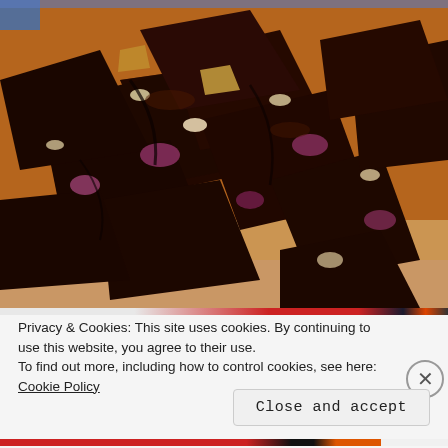[Figure (photo): A pile of dark chocolate bark pieces with nuts and pink/white fillings, broken into rough squares and chunks, arranged on a light wooden surface. The chocolate is dark and glossy with visible mixed-in ingredients.]
Privacy & Cookies: This site uses cookies. By continuing to use this website, you agree to their use.
To find out more, including how to control cookies, see here: Cookie Policy
Close and accept